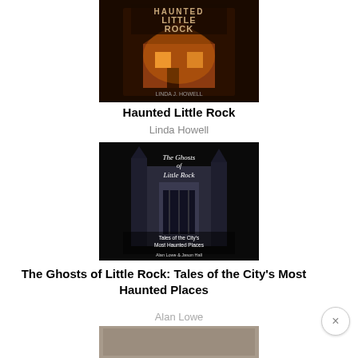[Figure (photo): Book cover of 'Haunted Little Rock' showing a dark Victorian house with orange glow, haunted style typography at top]
Haunted Little Rock
Linda Howell
[Figure (photo): Book cover of 'The Ghosts of Little Rock: Tales of the City's Most Haunted Places' showing a gothic church building with ghostly white handwritten-style title text. Authors: Alan Lowe & Jason Hall]
The Ghosts of Little Rock: Tales of the City's Most Haunted Places
Alan Lowe